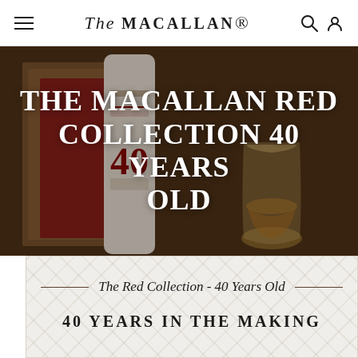The Macallan® — navigation bar with hamburger menu, logo, search and account icons
[Figure (photo): Hero image of The Macallan Red Collection 40 Years Old whisky bottle with a crystal glass of whisky on a wooden surface, dark warm tones]
THE MACALLAN RED COLLECTION 40 YEARS OLD
The Red Collection - 40 Years Old
40 YEARS IN THE MAKING